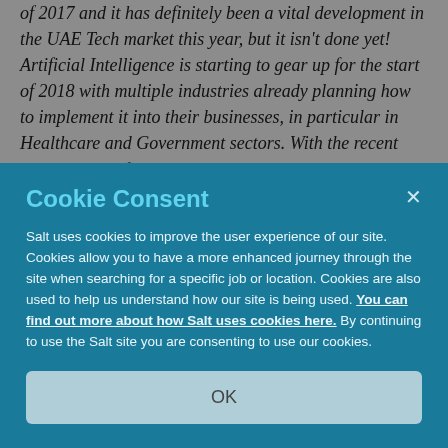of 2017 and it has definitely been a vital development in the UAE Tech market this year, but it isn't done yet! Artificial Intelligence is starting to gear up for the start of 2018 with multiple industries already planning how to implement it into their businesses, in particular in Healthcare and Government sectors. With the recent appointment of Omar Sultan AlOlama as the UAE's Minister of
Cookie Consent
Salt uses cookies to improve the user experience of our site. Cookies allow you to have a more enhanced journey through the site when searching for a specific job or location. Cookies are also used to help us understand how our site is being used. You can find out more about how Salt uses cookies here. By continuing to use the Salt site you are consenting to use our cookies.